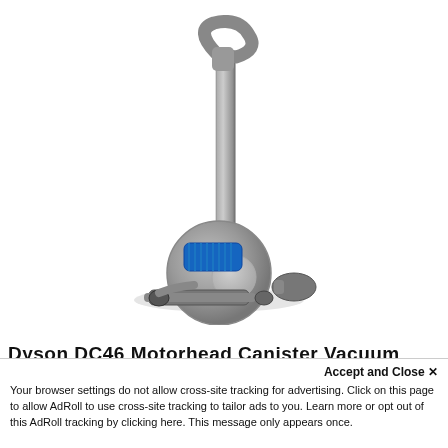[Figure (photo): Dyson DC46 Motorhead Canister Vacuum cleaner photo on white background, showing the ball-style silver and blue canister body with wand and handle extending upward]
Dyson DC46 Motorhead Canister Vacuum
Accept and Close ×
Your browser settings do not allow cross-site tracking for advertising. Click on this page to allow AdRoll to use cross-site tracking to tailor ads to you. Learn more or opt out of this AdRoll tracking by clicking here. This message only appears once.